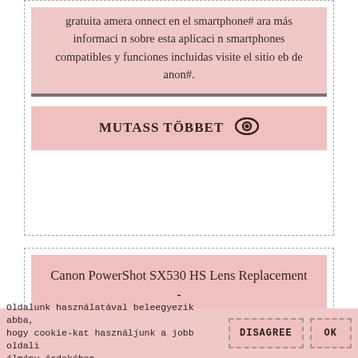gratuita amera onnect en el smartphone# ara más informaci n sobre esta aplicaci n smartphones compatibles y funciones incluidas visite el sitio eb de anon#.
MUTASS TÖBBET 👁
Canon PowerShot SX530 HS Lens Replacement - InfoCon.org
This guide shows how to replace the Lens of the Canon PowerShot SX 530 HS. ... Step 3 — Canon PowerShot SX530 HS Back Panel Assembly. Flip over the camera.
Oldalunk használatával beleegyezik abba, hogy cookie-kat használjunk a jobb oldali élmény érdekében.
DISAGREE
OK